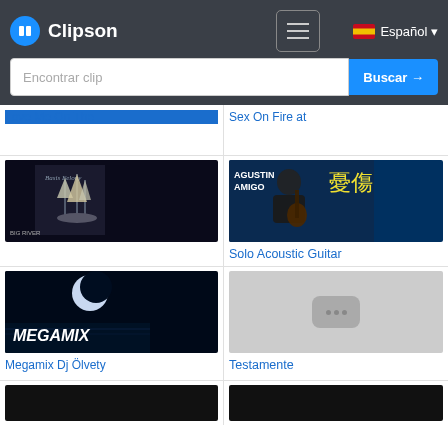Clipson — Encontrar clip — Buscar → — Español
[Figure (screenshot): Thumbnail for 'Love Me On The' video clip (partially visible)]
Love Me On The
[Figure (screenshot): Thumbnail for 'Sex On Fire at' video clip (partially visible)]
Sex On Fire at
[Figure (screenshot): Thumbnail showing sailing ship album art (Basis Felony)]
[Figure (screenshot): Thumbnail showing Agustin Amigo playing acoustic guitar with Japanese text]
Solo Acoustic Guitar
[Figure (screenshot): Thumbnail showing MEGAMIX with moon over water]
Megamix Dj Ölvety
[Figure (screenshot): Placeholder thumbnail with three dots icon]
Testamente
[Figure (screenshot): Bottom left thumbnail (partially visible, dark)]
[Figure (screenshot): Bottom right thumbnail (partially visible, dark)]